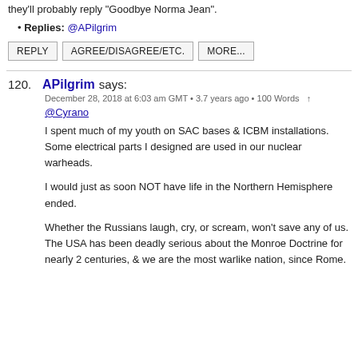they'll probably reply "Goodbye Norma Jean".
Replies: @APilgrim
REPLY   AGREE/DISAGREE/ETC.   MORE...
120. APilgrim says: December 28, 2018 at 6:03 am GMT • 3.7 years ago • 100 Words ↑
@Cyrano
I spent much of my youth on SAC bases & ICBM installations. Some electrical parts I designed are used in our nuclear warheads.
I would just as soon NOT have life in the Northern Hemisphere ended.
Whether the Russians laugh, cry, or scream, won't save any of us. The USA has been deadly serious about the Monroe Doctrine for nearly 2 centuries, & we are the most warlike nation, since Rome.